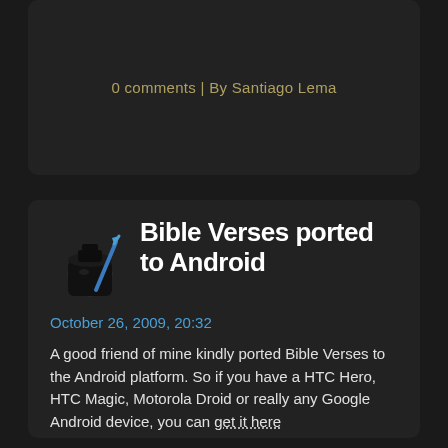0 comments | By Santiago Lema
Bible Verses ported to Android
October 26, 2009, 20:32
A good friend of mine kindly ported Bible Verses to the Android platform. So if you have a HTC Hero, HTC Magic, Motorola Droid or really any Google Android device, you can get it here
...